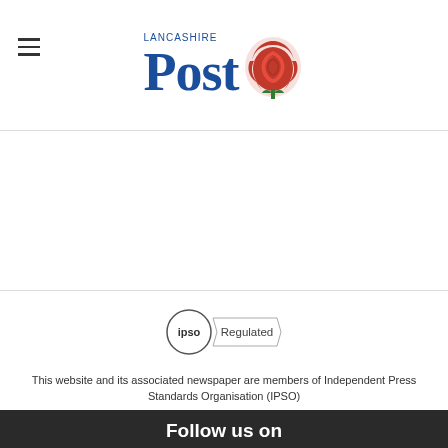[Figure (logo): Lancashire Post logo with red rose graphic and blue serif text]
[Figure (logo): IPSO Regulated badge - circle with IPSO text and ribbon banner]
This website and its associated newspaper are members of Independent Press Standards Organisation (IPSO)
Follow us on
[Figure (illustration): Social media icons: Facebook and Twitter circular buttons]